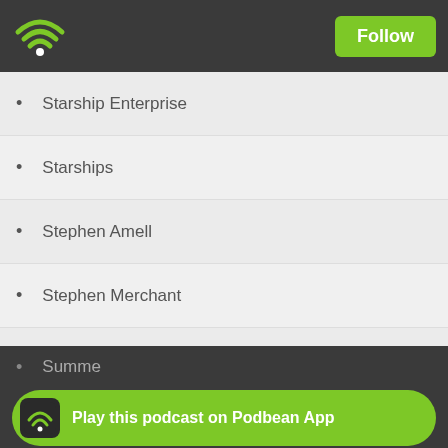Podbean - Follow
Starship Enterprise
Starships
Stephen Amell
Stephen Merchant
Stereotypes
Steven Spielberg
Storm
Stormtroopers
STTNG
Summe…
Play this podcast on Podbean App